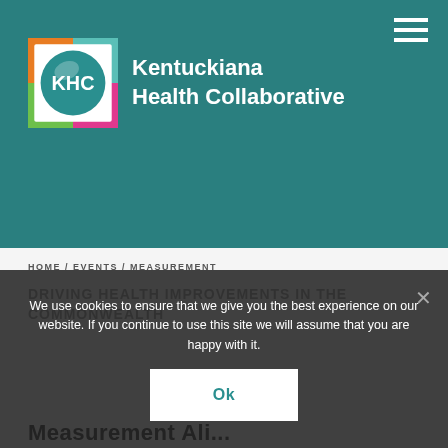[Figure (logo): Kentuckiana Health Collaborative logo: colorful square with KHC circle and text]
Kentuckiana Health Collaborative
HOME / EVENTS / MEASUREMENT
DRIVING HEALTH IMPROVEMENTS IN THE COMMONWEALTH
We use cookies to ensure that we give you the best experience on our website. If you continue to use this site we will assume that you are happy with it.
Ok
Measurement Ali...